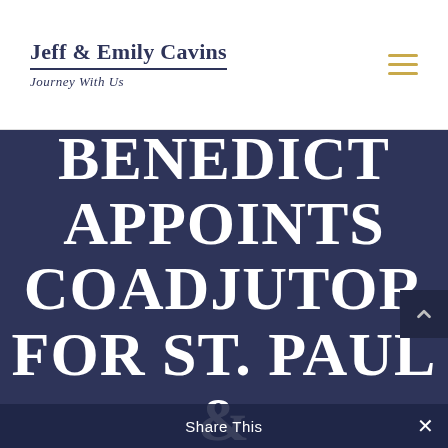Jeff & Emily Cavins — Journey With Us
POPE BENEDICT APPOINTS COADJUTOR FOR ST. PAUL & MINNEAPOLIS,
Share This